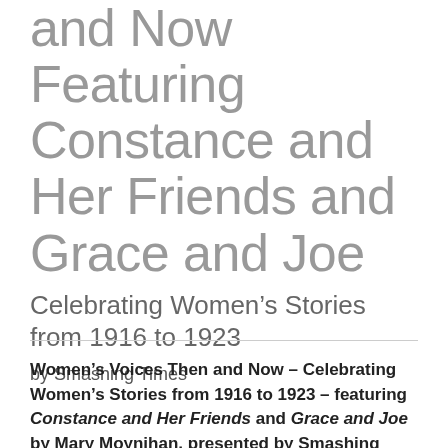and Now Featuring Constance and Her Friends and Grace and Joe
Celebrating Women's Stories from 1916 to 1923
by Smashing Times
Women's Voices Then and Now – Celebrating Women's Stories from 1916 to 1923 – featuring Constance and Her Friends and Grace and Joe by Mary Moynihan, presented by Smashing Times